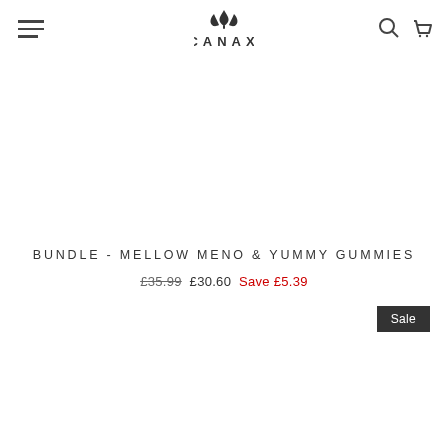[Figure (logo): CANAX logo with cannabis leaf crown above the text]
BUNDLE - MELLOW MENO & YUMMY GUMMIES
£35.99 £30.60 Save £5.39
Sale